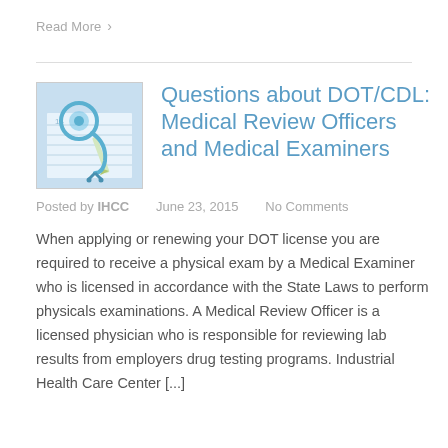Read More ›
[Figure (photo): Stethoscope resting on a medical chart/calendar with a pen, blue tones]
Questions about DOT/CDL: Medical Review Officers and Medical Examiners
Posted by IHCC   June 23, 2015   No Comments
When applying or renewing your DOT license you are required to receive a physical exam by a Medical Examiner who is licensed in accordance with the State Laws to perform physicals examinations. A Medical Review Officer is a licensed physician who is responsible for reviewing lab results from employers drug testing programs. Industrial Health Care Center [...]